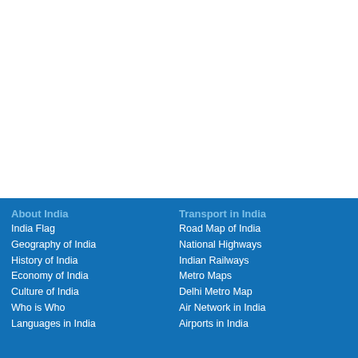About India
India Flag
Geography of India
History of India
Economy of India
Culture of India
Who is Who
Languages in India
Transport in India
Road Map of India
National Highways
Indian Railways
Metro Maps
Delhi Metro Map
Air Network in India
Airports in India